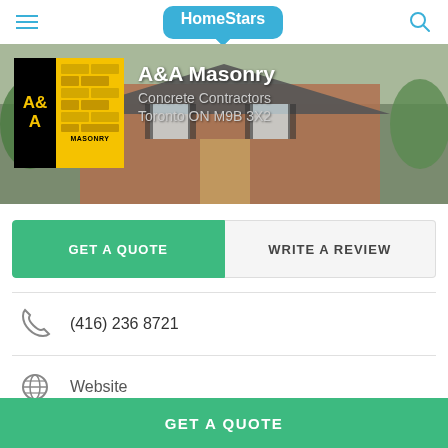HomeStars
[Figure (photo): Banner background showing a brick house with trees, overlaid with A&A Masonry logo and business info]
A&A Masonry
Concrete Contractors
Toronto ON M9B 3X2
GET A QUOTE
WRITE A REVIEW
(416) 236 8721
Website
GET A QUOTE